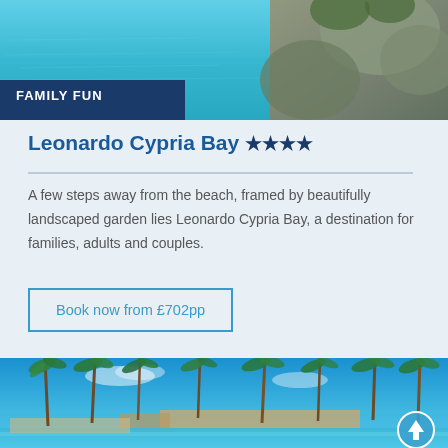[Figure (photo): Aerial/poolside view of resort near the sea with rocky landscape, water visible, Family Fun badge overlay]
FAMILY FUN
Leonardo Cypria Bay ★★★★
A few steps away from the beach, framed by beautifully landscaped garden lies Leonardo Cypria Bay, a destination for families, adults and couples.
Book now from £702pp
[Figure (photo): Resort pool area with tall palm trees against bright blue sky, sun loungers visible around the pool]